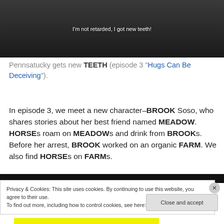[Figure (screenshot): Dark photo of a person with white subtitle text reading: I'm not retarded, I got new teeth!]
Pennsatucky gets new TEETH (episode 3 "Hugs Can Be Deceiving").
In episode 3, we meet a new character–BROOK Soso, who shares stories about her best friend named MEADOW. HORSEs roam on MEADOWs and drink from BROOKs. Before her arrest, BROOK worked on an organic FARM. We also find HORSEs on FARMs.
Privacy & Cookies: This site uses cookies. By continuing to use this website, you agree to their use.
To find out more, including how to control cookies, see here: Cookie Policy